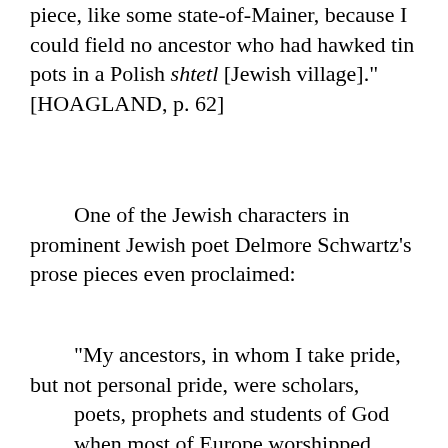piece, like some state-of-Mainer, because I could field no ancestor who had hawked tin pots in a Polish shtetl [Jewish village]." [HOAGLAND, p. 62]
One of the Jewish characters in prominent Jewish poet Delmore Schwartz's prose pieces even proclaimed:
"My ancestors, in whom I take pride, but not personal pride, were scholars, poets, prophets and students of God when most of Europe worshipped sticks and stones; not that I hold that against any of you, for it is not your fault if your forebears were barbarians groveling and groping about for peat